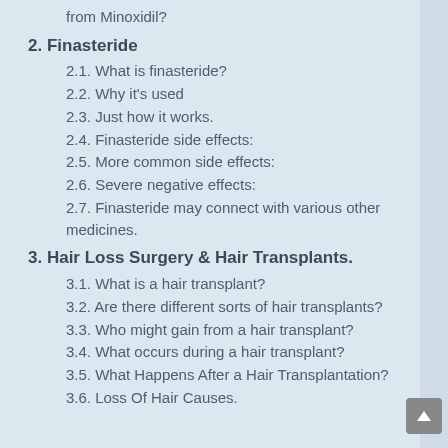from Minoxidil?
2. Finasteride
2.1.  What is finasteride?
2.2. Why it's used
2.3. Just how it works.
2.4. Finasteride side effects:
2.5. More common side effects:
2.6. Severe negative effects:
2.7. Finasteride may connect with various other medicines.
3. Hair Loss Surgery & Hair Transplants.
3.1. What is a hair transplant?
3.2.  Are there different sorts of hair transplants?
3.3. Who might gain from a hair transplant?
3.4. What occurs during a hair transplant?
3.5. What Happens After a Hair Transplantation?
3.6. Loss Of Hair Causes.